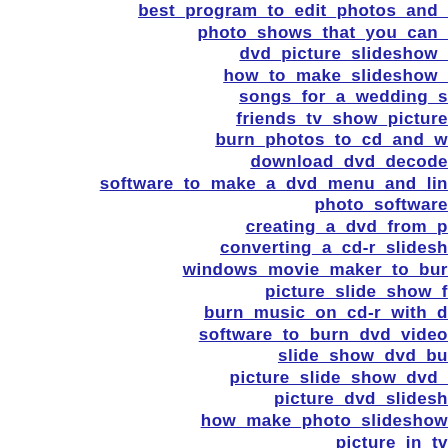best_program_to_edit_photos_and_...
photo_shows_that_you_can_...
dvd_picture_slideshow_...
how_to_make_slideshow_...
songs_for_a_wedding_s...
friends_tv_show_picture...
burn_photos_to_cd_and_w...
download_dvd_decode...
software_to_make_a_dvd_menu_and_lin...
photo_software...
creating_a_dvd_from_p...
converting_a_cd-r_slidesh...
windows_movie_maker_to_bur...
picture_slide_show_f...
burn_music_on_cd-r_with_d...
software_to_burn_dvd_video...
slide_show_dvd_bu...
picture_slide_show_dvd_...
picture_dvd_slidesh...
how_make_photo_slideshow...
picture_in_tv...
cd_dvd_picture_to...
photo_montage_soft...
video_photo_montage_s...
creating_photo_cd_with...